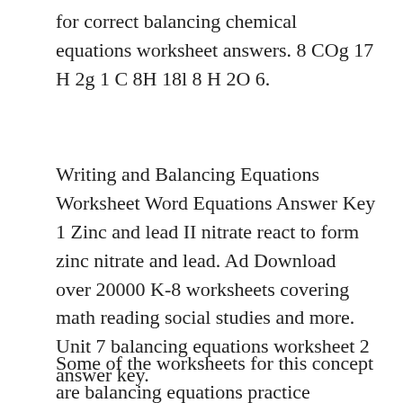for correct balancing chemical equations worksheet answers. 8 COg 17 H 2g 1 C 8H 18l 8 H 2O 6.
Writing and Balancing Equations Worksheet Word Equations Answer Key 1 Zinc and lead II nitrate react to form zinc nitrate and lead. Ad Download over 20000 K-8 worksheets covering math reading social studies and more. Unit 7 balancing equations worksheet 2 answer key.
Some of the worksheets for this concept are balancing equations practice problems teacher